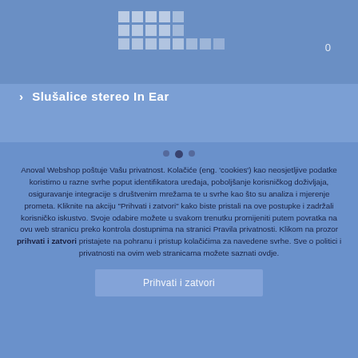[Figure (logo): Grid logo composed of small square tiles arranged in 3 rows, with a shopping cart count of 0 in the top right]
Slušalice stereo In Ear
Anoval Webshop poštuje Vašu privatnost. Kolačiće (eng. 'cookies') kao neosjetljive podatke koristimo u razne svrhe poput identifikatora uređaja, poboljšanje korisničkog doživljaja, osiguravanje integracije s društvenim mrežama te u svrhe kao što su analiza i mjerenje prometa. Kliknite na akciju "Prihvati i zatvori" kako biste pristali na ove postupke i zadržali korisničko iskustvo. Svoje odabire možete u svakom trenutku promijeniti putem povratka na ovu web stranicu preko kontrola dostupnima na stranici Pravila privatnosti. Klikom na prozor prihvati i zatvori pristajete na pohranu i pristup kolačićima za navedene svrhe. Sve o politici i privatnosti na ovim web stranicama možete saznati ovdje.
Prihvati i zatvori